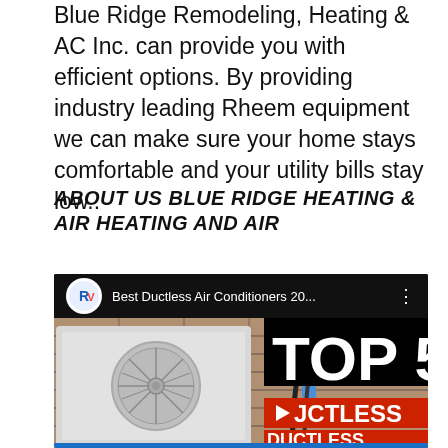Blue Ridge Remodeling, Heating & AC Inc. can provide you with efficient options. By providing industry leading Rheem equipment we can make sure your home stays comfortable and your utility bills stay low..
ABOUT US BLUE RIDGE HEATING & AIR HEATING AND AIR
[Figure (screenshot): YouTube video thumbnail for 'Best Ductless Air Conditioners 20...' showing an outdoor AC condenser unit mounted on a brick wall, with 'TOP 5' text overlay and a red play button with 'DUCTLESS' text]